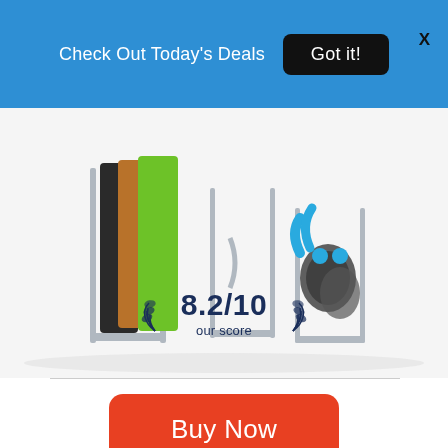Check Out Today's Deals  Got it!
[Figure (photo): Kitchen organizer rack holding cutting boards, pans, and lids with blue handles, on a white background]
8.2/10
our score
Buy Now